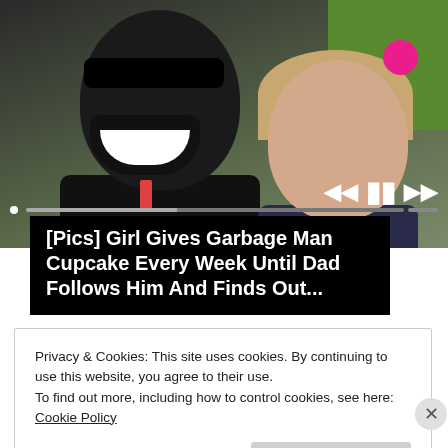[Figure (photo): A smiling man with sunglasses and beard posing with a young toddler girl with a pink bow in her hair; outdoor setting with green grass in background]
[Pics] Girl Gives Garbage Man Cupcake Every Week Until Dad Follows Him And Finds Out...
Privacy & Cookies: This site uses cookies. By continuing to use this website, you agree to their use.
To find out more, including how to control cookies, see here: Cookie Policy
Close and accept